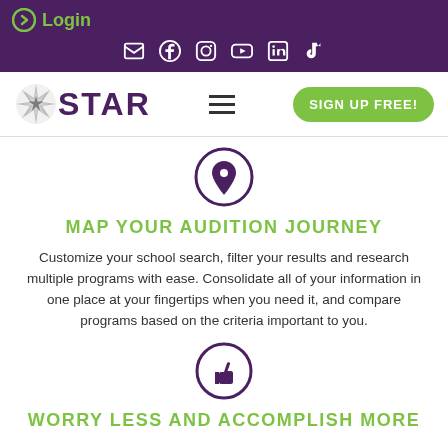Login
[Figure (screenshot): Social media icons row: email, Facebook, Instagram, YouTube, LinkedIn, TikTok]
[Figure (logo): STAR logo with star burst icon and purple STAR text]
[Figure (illustration): Location pin icon in a circle]
MAP YOUR AUDITION JOURNEY
Customize your school search, filter your results and research multiple programs with ease. Consolidate all of your information in one place at your fingertips when you need it, and compare programs based on the criteria important to you.
[Figure (illustration): Thumbs up icon in a circle]
WORRY LESS AND ACCOMPLISH MORE